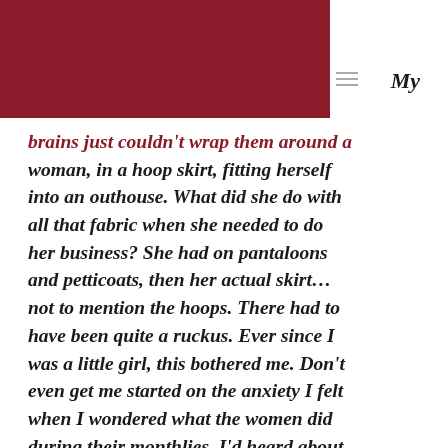brains just couldn't wrap them around a woman, in a hoop skirt, fitting herself into an outhouse. What did she do with all that fabric when she needed to do her business? She had on pantaloons and petticoats, then her actual skirt… not to mention the hoops. There had to have been quite a ruckus. Ever since I was a little girl, this bothered me. Don't even get me started on the anxiety I felt when I wondered what the women did during their monthlies. I'd heard about belts and pads and rags and…oh, it all sounded so awful.